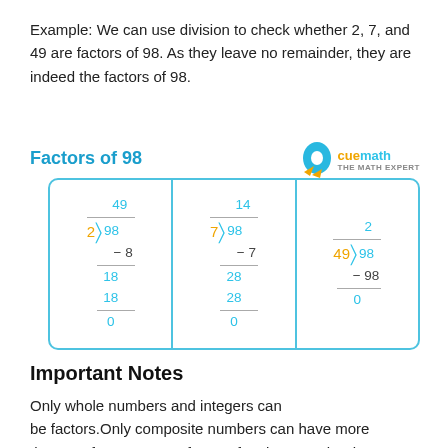Example: We can use division to check whether 2, 7, and 49 are factors of 98. As they leave no remainder, they are indeed the factors of 98.
Factors of 98
[Figure (math-figure): Long division showing 98÷2=49, 98÷7=14, 98÷49=2, all with remainder 0, inside a rounded cyan-bordered box with three columns.]
Important Notes
Only whole numbers and integers can be factors.Only composite numbers can have more than two factors. Every factor of a given number is